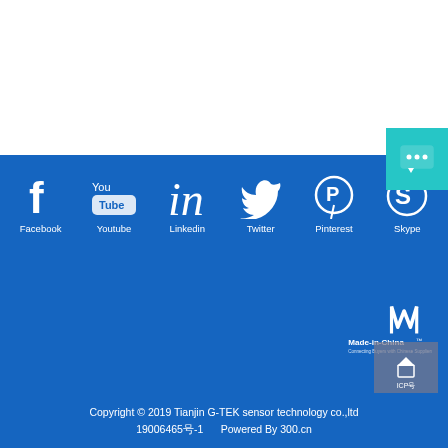[Figure (infographic): Social media icons row: Facebook, Youtube, Linkedin, Twitter, Pinterest, Skype with labels in white on blue background]
[Figure (logo): Made-in-China.com logo with M symbol in white on blue background]
Copyright © 2019 Tianjin G-TEK sensor technology co.,ltd  19006465号-1       Powered By 300.cn